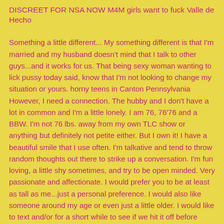DISCREET FOR NSA NOW M4M girls want to fuck Valle de Hecho
Something a little different... My something different is that I'm married and my husband doesn't mind that I talk to other guys...and it works for us. That being sexy woman wanting to lick pussy today said, know that I'm not looking to change my situation or yours. horny teens in Canton Pennsylvania However, I need a connection. The hubby and I don't have a lot in common and I'm a little lonely. I am 76, 76'76 and a BBW. I'm not 76 lbs. away from my own TLC show or anything but definitely not petite either. But I own it! I have a beautiful smile that I use often. I'm talkative and tend to throw random thoughts out there to strike up a conversation. I'm fun loving, a little shy sometimes, and try to be open minded. Very passionate and affectionate. I would prefer you to be at least as tall as me...just a personal preference. I would also like someone around my age or even just a little older. I would like to text and/or for a short while to see if we hit it off before trying to meet up. This is NOT about a xxx night stand or a quick hook up. I don't want your nude in the first 76 or texts